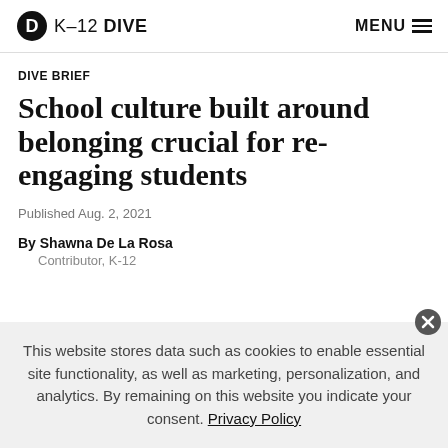K-12 DIVE  MENU
DIVE BRIEF
School culture built around belonging crucial for re-engaging students
Published Aug. 2, 2021
By Shawna De La Rosa
Contributor, K-12
This website stores data such as cookies to enable essential site functionality, as well as marketing, personalization, and analytics. By remaining on this website you indicate your consent. Privacy Policy